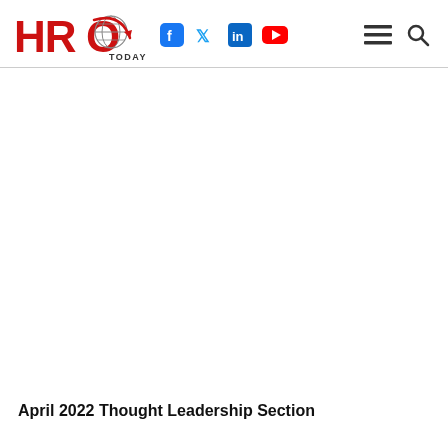HRO Today
April 2022 Thought Leadership Section